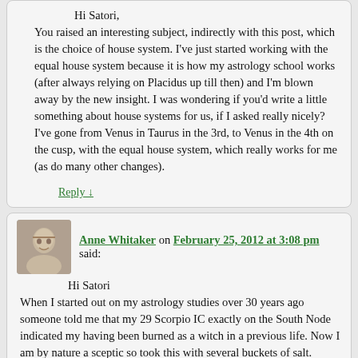Hi Satori,
You raised an interesting subject, indirectly with this post, which is the choice of house system. I've just started working with the equal house system because it is how my astrology school works (after always relying on Placidus up till then) and I'm blown away by the new insight. I was wondering if you'd write a little something about house systems for us, if I asked really nicely?
I've gone from Venus in Taurus in the 3rd, to Venus in the 4th on the cusp, with the equal house system, which really works for me (as do many other changes).
Reply ↓
Anne Whitaker on February 25, 2012 at 3:08 pm said:
Hi Satori
When I started out on my astrology studies over 30 years ago someone told me that my 29 Scorpio IC exactly on the South Node indicated my having been burned as a witch in a previous life. Now I am by nature a sceptic so took this with several buckets of salt. Anyone else out there heard this one?
Reply ↓
Jen on February 25, 2012 at 10:50 pm said: